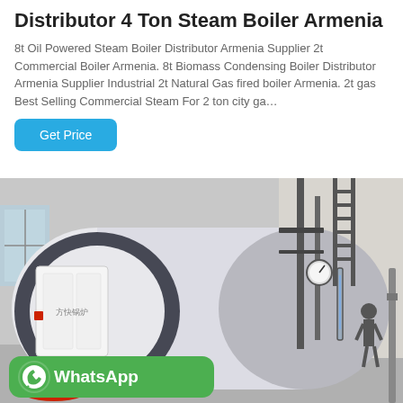Distributor 4 Ton Steam Boiler Armenia
8t Oil Powered Steam Boiler Distributor Armenia Supplier 2t Commercial Boiler Armenia. 8t Biomass Condensing Boiler Distributor Armenia Supplier Industrial 2t Natural Gas fired boiler Armenia. 2t gas Best Selling Commercial Steam For 2 ton city ga…
[Figure (photo): Industrial steam boiler in a facility, with WhatsApp contact badge overlay at the bottom left.]